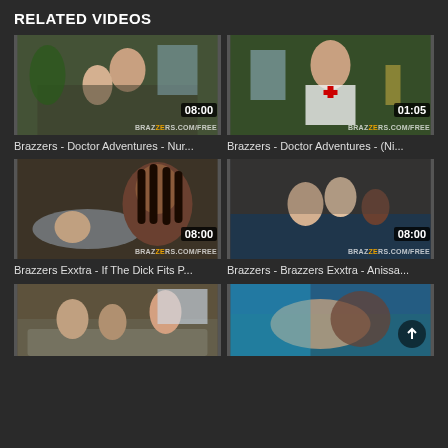RELATED VIDEOS
[Figure (screenshot): Video thumbnail for Brazzers - Doctor Adventures - Nur... with duration 08:00 and Brazzers watermark]
Brazzers - Doctor Adventures - Nur...
[Figure (screenshot): Video thumbnail for Brazzers - Doctor Adventures - (Ni... with duration 01:05 and Brazzers watermark]
Brazzers - Doctor Adventures - (Ni...
[Figure (screenshot): Video thumbnail for Brazzers Exxtra - If The Dick Fits P... with duration 08:00 and Brazzers watermark]
Brazzers Exxtra - If The Dick Fits P...
[Figure (screenshot): Video thumbnail for Brazzers - Brazzers Exxtra - Anissa... with duration 08:00 and Brazzers watermark]
Brazzers - Brazzers Exxtra - Anissa...
[Figure (screenshot): Partial video thumbnail showing group scene on couch]
[Figure (screenshot): Partial video thumbnail showing poolside scene with scroll arrow]